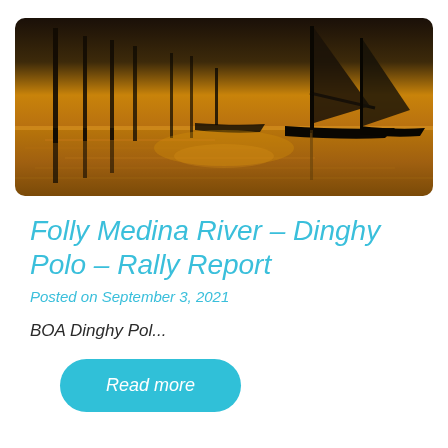[Figure (photo): Marina at dusk/dawn with sailboat masts reflected in calm golden water, dark silhouettes of boats and dock pilings]
Folly Medina River – Dinghy Polo – Rally Report
Posted on September 3, 2021
BOA Dinghy Pol...
Read more